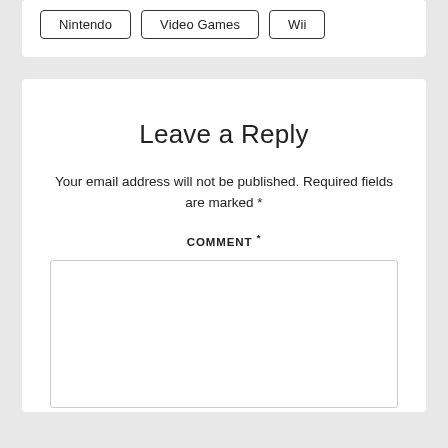Nintendo
Video Games
Wii
Leave a Reply
Your email address will not be published. Required fields are marked *
COMMENT *
[Figure (other): Empty comment text area input box]